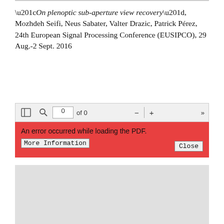“On plenoptic sub-aperture view recovery”, Mozhdeh Seifi, Neus Sabater, Valter Drazic, Patrick Pérez, 24th European Signal Processing Conference (EUSIPCO), 29 Aug.-2 Sept. 2016
View Fullscreen
[Figure (screenshot): PDF viewer toolbar showing sidebar toggle, search icon, page input showing '0 of 0', zoom out (-), divider, zoom in (+), and forward navigation (>>) buttons.]
An error occurred while loading the PDF. More Information